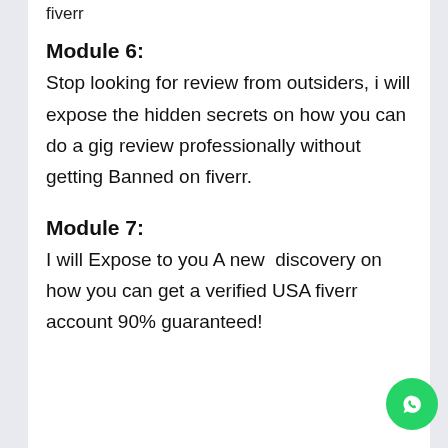fiverr
Module 6:
Stop looking for review from outsiders, i will expose the hidden secrets on how you can do a gig review professionally without getting Banned on fiverr.
Module 7:
I will Expose to you A new discovery on how you can get a verified USA fiverr account 90% guaranteed!